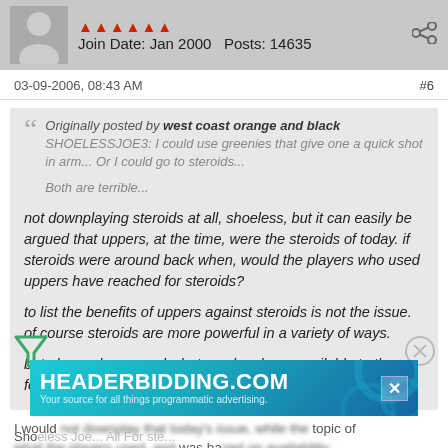Join Date: Jan 2000   Posts: 14635
03-09-2006, 08:43 AM   #6
Originally posted by west coast orange and black
SHOELESSJOE3: I could use greenies that give one a quick shot in arm... Or I could go to steroids...

Both are terrible...

not downplaying steroids at all, shoeless, but it can easily be argued that uppers, at the time, were the steroids of today. if steroids were around back when, would the players who used uppers have reached for steroids?

to list the benefits of uppers against steroids is not the issue. of course steroids are more powerful in a variety of ways.

but players have used whatever has been available to them for a long long time.
I would ... that today ... the topic of ... was ba...
[Figure (screenshot): HEADERBIDDING.COM advertisement banner - Your source for all things programmatic advertising.]